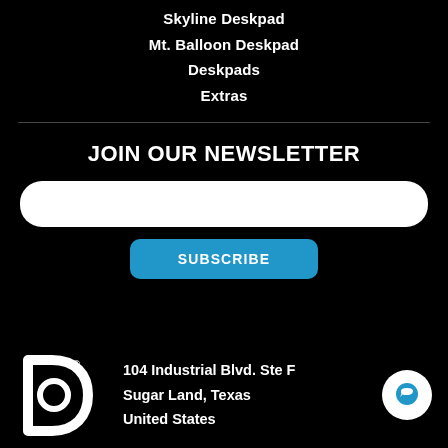Skyline Deskpad
Mt. Balloon Deskpad
Deskpads
Extras
JOIN OUR NEWSLETTER
[Figure (other): Email input field (white rounded rectangle)]
[Figure (other): Subscribe button (blue rounded rectangle with text SUBSCRIBE)]
[Figure (logo): Deskpad brand logo - white stylized D with registered trademark symbol]
104 Industrial Blvd. Ste F
Sugar Land, Texas
United States
[Figure (other): Chat button - white circle with blue speech bubble icon]